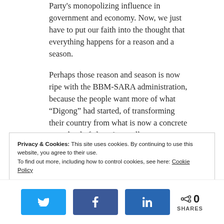Party's monopolizing influence in government and economy. Now, we just have to put our faith into the thought that everything happens for a reason and a season.
Perhaps those reason and season is now ripe with the BBM-SARA administration, because the people want more of what “Digong” had started, of transforming their country from what is now a concrete wasteland of shopping malls, condominiums, BPOs and OFWs, back to their fertile
Privacy & Cookies: This site uses cookies. By continuing to use this website, you agree to their use.
To find out more, including how to control cookies, see here: Cookie Policy